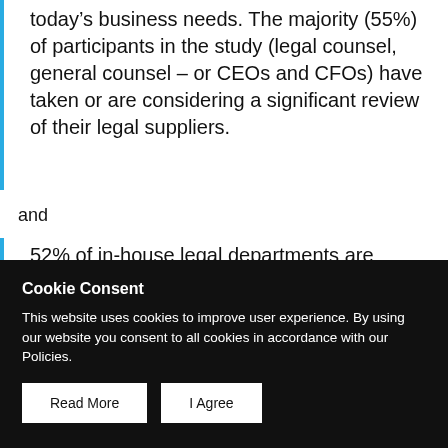today’s business needs. The majority (55%) of participants in the study (legal counsel, general counsel – or CEOs and CFOs) have taken or are considering a significant review of their legal suppliers.
and
52% of in-house legal departments are considering buying legal services from nontraditional law firms.
Cookie Consent
This website uses cookies to improve user experience. By using our website you consent to all cookies in accordance with our Policies.